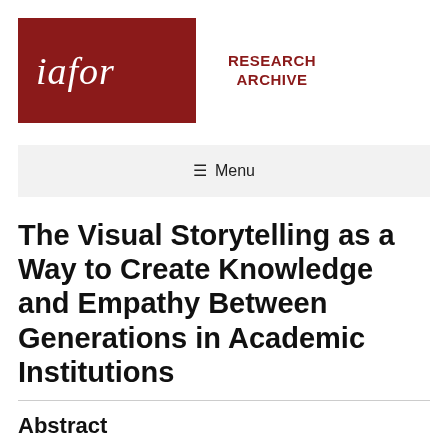[Figure (logo): IAFOR Research Archive logo: dark red banner with 'iafor' in italic white serif font on the left and 'RESEARCH ARCHIVE' in bold dark red text on a white rectangle on the right]
☰ Menu
The Visual Storytelling as a Way to Create Knowledge and Empathy Between Generations in Academic Institutions
Abstract